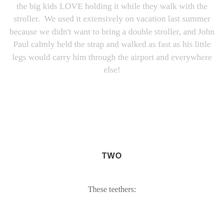the big kids LOVE holding it while they walk with the stroller. We used it extensively on vacation last summer because we didn't want to bring a double stroller, and John Paul calmly held the strap and walked as fast as his little legs would carry him through the airport and everywhere else!
TWO
These teethers: